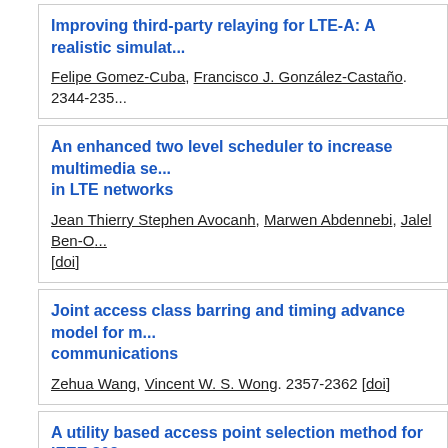Improving third-party relaying for LTE-A: A realistic simulat...
Felipe Gomez-Cuba, Francisco J. González-Castaño. 2344-235...
An enhanced two level scheduler to increase multimedia se... in LTE networks
Jean Thierry Stephen Avocanh, Marwen Abdennebi, Jalel Ben-O... [doi]
Joint access class barring and timing advance model for m... communications
Zehua Wang, Vincent W. S. Wong. 2357-2362 [doi]
A utility based access point selection method for IEEE 802.... with enhanced quality of experience
Jason B. Ernst, Stefan C. Kremer, Joel J. P. C. Rodrigues. 2363...
Random access protocol for collision avoidance in cellular... communication